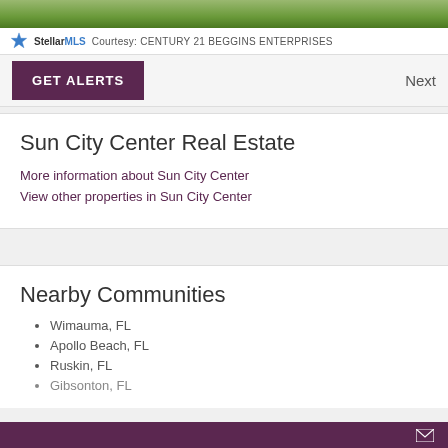[Figure (photo): Grass/lawn photo strip at top of page]
StellarMLS  Courtesy: CENTURY 21 BEGGINS ENTERPRISES
GET ALERTS
Next
Sun City Center Real Estate
More information about Sun City Center
View other properties in Sun City Center
Nearby Communities
Wimauma, FL
Apollo Beach, FL
Ruskin, FL
Gibsonton, FL